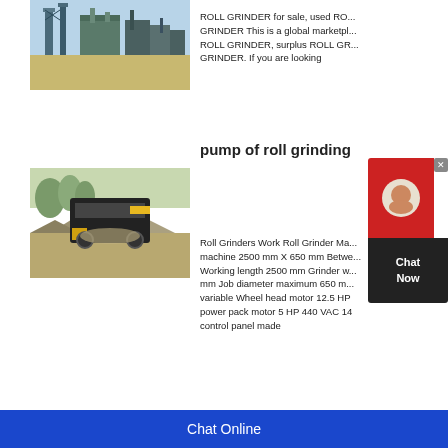[Figure (photo): Industrial mining/processing plant with blue sky background and yellow structures]
ROLL GRINDER for sale, used ROLL GRINDER This is a global marketplace ROLL GRINDER, surplus ROLL GRINDER. If you are looking
[Figure (photo): Heavy machinery/crusher with gravel piles at a mining site]
pump of roll grinding a
Roll Grinders Work Roll Grinder Machine 2500 mm X 650 mm Between Working length 2500 mm Grinder mm Job diameter maximum 650 mm variable Wheel head motor 12.5 HP power pack motor 5 HP 440 VAC 14 control panel made
Chat Online